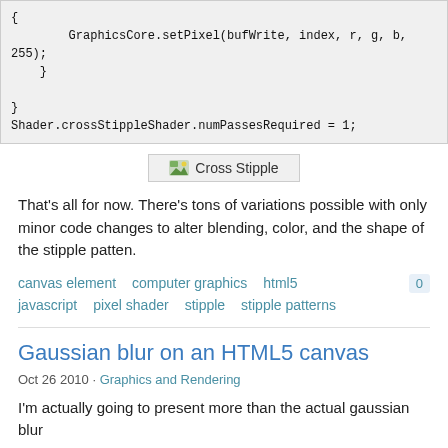{
        GraphicsCore.setPixel(bufWrite, index, r, g, b, 255);
    }

}
Shader.crossStippleShader.numPassesRequired = 1;
[Figure (screenshot): Cross Stipple image button/link with small image icon]
That's all for now. There's tons of variations possible with only minor code changes to alter blending, color, and the shape of the stipple patten.
canvas element   computer graphics   html5   0   javascript   pixel shader   stipple   stipple patterns
Gaussian blur on an HTML5 canvas
Oct 26 2010 · Graphics and Rendering
I'm actually going to present more than the actual gaussian blur